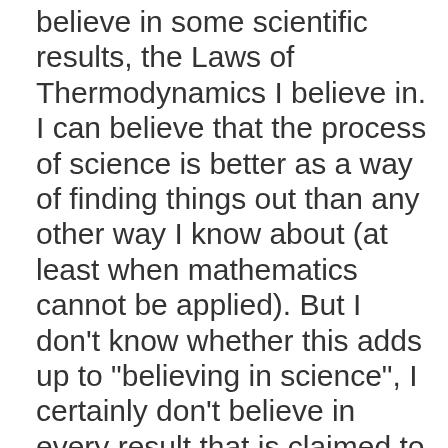believe in some scientific results, the Laws of Thermodynamics I believe in. I can believe that the process of science is better as a way of finding things out than any other way I know about (at least when mathematics cannot be applied). But I don't know whether this adds up to "believing in science", I certainly don't believe in every result that is claimed to be scientific, and indeed I think that such an attitude would be the opposite of scientific. However, as I said in my reply to Patrick, my problems with the research into irrationality